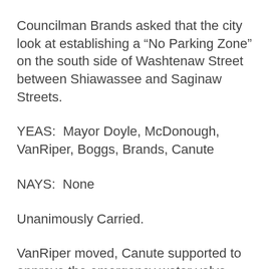Councilman Brands asked that the city look at establishing a “No Parking Zone” on the south side of Washtenaw Street between Shiawassee and Saginaw Streets.
YEAS:  Mayor Doyle, McDonough, VanRiper, Boggs, Brands, Canute
NAYS:  None
Unanimously Carried.
VanRiper moved, Canute supported to approve the emergency water valve replacement on